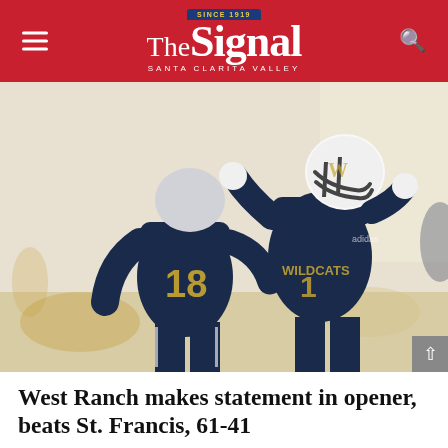The Signal — Santa Clarita Valley
[Figure (photo): Two West Ranch football players in navy blue and gold uniforms celebrating on the field. Player #18 is in the foreground. Players are wearing white helmets with dark visors.]
West Ranch makes statement in opener, beats St. Francis, 61-41